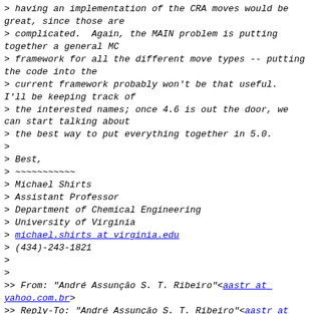> having an implementation of the CRA moves would be great, since those are
> complicated.  Again, the MAIN problem is putting together a general MC
> framework for all the different move types -- putting the code into the
> current framework probably won't be that useful.  I'll be keeping track of
> the interested names; once 4.6 is out the door, we can start talking about
> the best way to put everything together in 5.0.
>
> Best,
> ~~~~~~~~~~~
> Michael Shirts
> Assistant Professor
> Department of Chemical Engineering
> University of Virginia
> michael.shirts at virginia.edu
> (434)-243-1821
>
>
>> From: "André Assunção S. T. Ribeiro"<aastr at yahoo.com.br>
>> Reply-To: "André Assunção S. T. Ribeiro"<aastr at yahoo.com.br>
>> Date: Tue, 31 Jan 2012 17:30:13 -0800
>> To: "michael.shirts at virginia.edu"<michael.shirts at virginia.edu>, Discussion
>> list for GROMACS development<gmx-developers at gromacs.org>